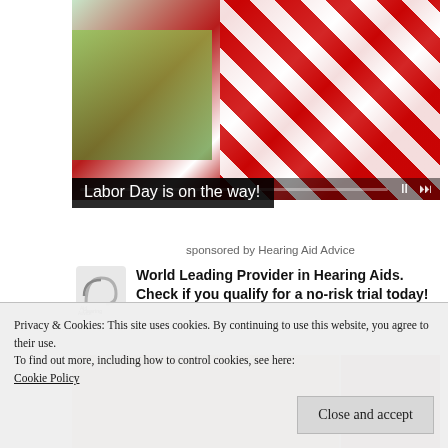[Figure (photo): Video thumbnail showing red and white striped decorations with green items, with video playback controls at bottom]
Labor Day is on the way!
sponsored by Hearing Aid Advice
World Leading Provider in Hearing Aids. Check if you qualify for a no-risk trial today!
Privacy & Cookies: This site uses cookies. By continuing to use this website, you agree to their use.
To find out more, including how to control cookies, see here:
Cookie Policy
Close and accept
[Figure (photo): Partially visible thumbnail images at bottom of page]